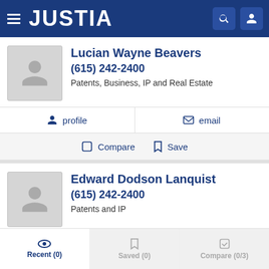JUSTIA
Lucian Wayne Beavers
(615) 242-2400
Patents, Business, IP and Real Estate
profile   email
Compare   Save
Edward Dodson Lanquist
(615) 242-2400
Patents and IP
profile   email
Recent (0)   Saved (0)   Compare (0/3)